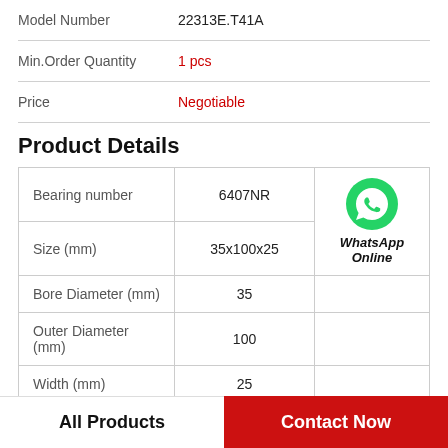Model Number: 22313E.T41A
Min.Order Quantity: 1 pcs
Price: Negotiable
Product Details
|  |  |  |
| --- | --- | --- |
| Bearing number | 6407NR | WhatsApp Online |
| Size (mm) | 35x100x25 |  |
| Bore Diameter (mm) | 35 |  |
| Outer Diameter (mm) | 100 |  |
| Width (mm) | 25 |  |
All Products   Contact Now